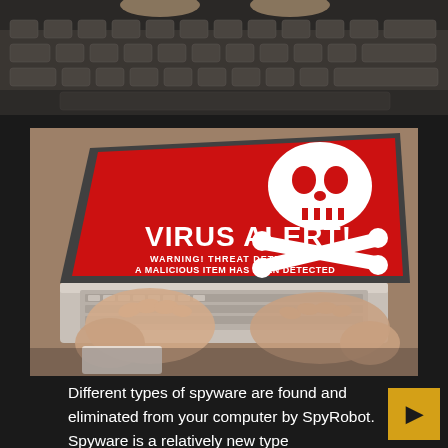[Figure (photo): Close-up photo of hands typing on a laptop keyboard, viewed from above, dark/moody lighting]
[Figure (photo): Laptop screen showing a red virus alert warning with skull and crossbones icon. Text on screen reads: VIRUS ALERT! WARNING! THREAT DETECTED! A MALICIOUS ITEM HAS BEEN DETECTED. Hands are visible typing on the keyboard below.]
Different types of spyware are found and eliminated from your computer by SpyRobot. Spyware is a relatively new type